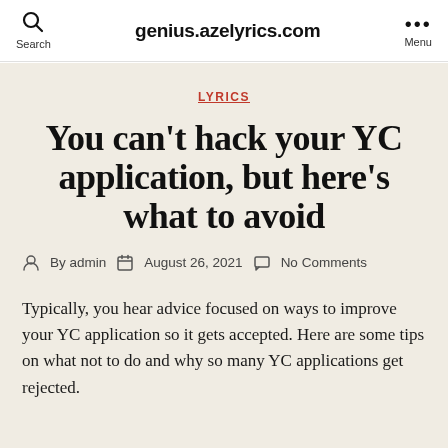genius.azelyrics.com
LYRICS
You can't hack your YC application, but here's what to avoid
By admin   August 26, 2021   No Comments
Typically, you hear advice focused on ways to improve your YC application so it gets accepted. Here are some tips on what not to do and why so many YC applications get rejected.